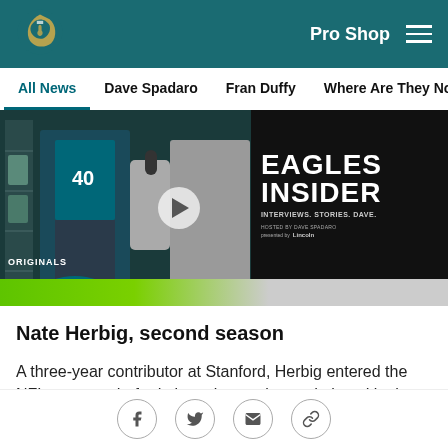Philadelphia Eagles – Pro Shop – Navigation
All News | Dave Spadaro | Fran Duffy | Where Are They Now? | Pu
[Figure (screenshot): Eagles Insider video thumbnail with player in locker room, 'EAGLES INSIDER – INTERVIEWS. STORIES. DAVE.' text on dark right panel with green bar at bottom and play button overlay. ORIGINALS label in lower left.]
Nate Herbig, second season
A three-year contributor at Stanford, Herbig entered the NFL as an undrafted player last spring and played in three offensive snaps after making the 53-man roster
Social share icons: Facebook, Twitter, Email, Link